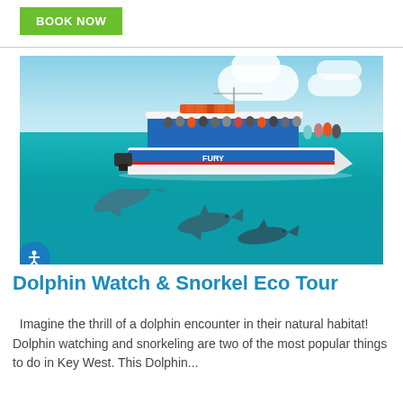BOOK NOW
[Figure (photo): A Fury-branded tour boat on turquoise water with passengers on the upper deck, and three dolphins swimming in the foreground.]
Dolphin Watch & Snorkel Eco Tour
Imagine the thrill of a dolphin encounter in their natural habitat! Dolphin watching and snorkeling are two of the most popular things to do in Key West. This Dolphin...